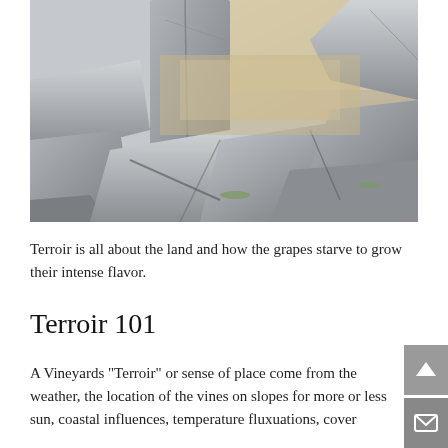[Figure (photo): Photo of rocky terrain/stone wall with large gray boulders and rocks piled together, with dried vegetation visible in background. Natural outdoor scene.]
Terroir is all about the land and how the grapes starve to grow their intense flavor.
Terroir 101
A Vineyards "Terroir" or sense of place come from the weather, the location of the vines on slopes for more or less sun, coastal influences, temperature fluxuations, cover